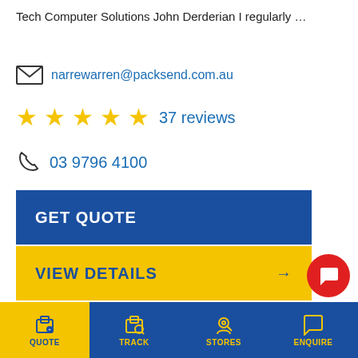Tech Computer Solutions John Derderian I regularly …
narrewarren@packsend.com.au
★★★★★  37 reviews
03 9796 4100
GET QUOTE
VIEW DETAILS →
PACK & SEND Pakenham
Unit 2, 29 Tarmac Way, PAKENHAM, VIC, 3810
Melbourne, South East: … other was happy to. Will differently go back again. Very Professional
QUOTE  TRACK  STORES  ENQUIRE